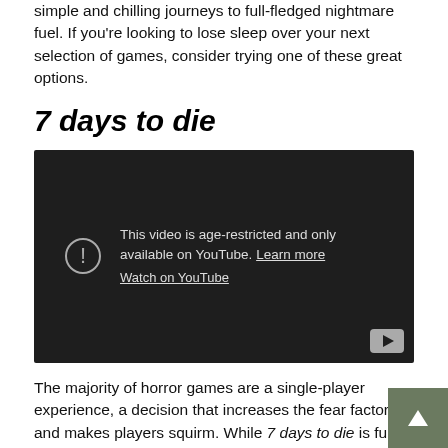simple and chilling journeys to full-fledged nightmare fuel. If you're looking to lose sleep over your next selection of games, consider trying one of these great options.
7 days to die
[Figure (screenshot): Embedded YouTube video player showing age-restriction warning: 'This video is age-restricted and only available on YouTube. Learn more. Watch on YouTube.' with a warning icon and YouTube logo button.]
The majority of horror games are a single-player experience, a decision that increases the fear factor and makes players squirm. While 7 days to die is fully playable alone, it also offers